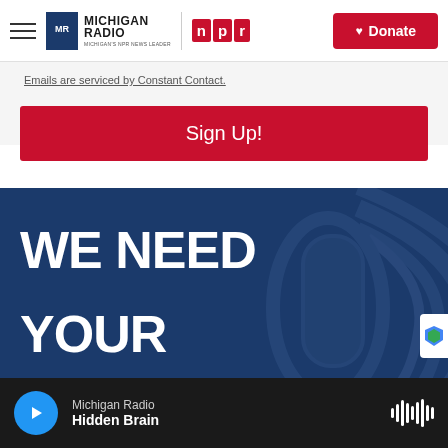Michigan Radio — NPR | Donate
Emails are serviced by Constant Contact.
Sign Up!
[Figure (illustration): Dark navy blue banner with large bold white text reading 'WE NEED YOUR' overlaid on a faded microphone graphic in the background. A partial reCAPTCHA badge is visible at the right edge.]
Michigan Radio — Hidden Brain (audio player with play button and waveform)